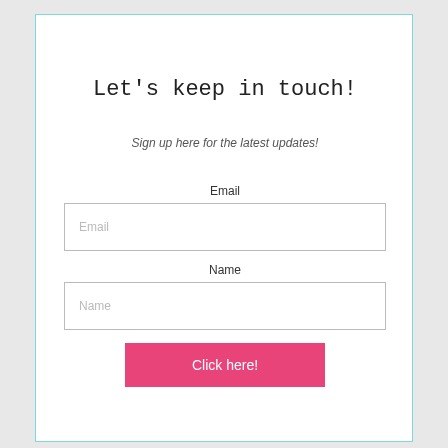Let's keep in touch!
Sign up here for the latest updates!
Email
Email
Name
Name
Click here!